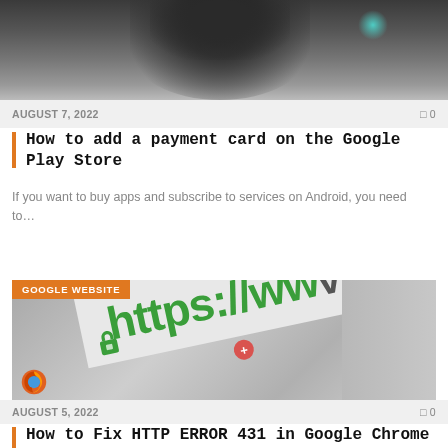[Figure (photo): Photo of a person holding a phone, cropped showing upper body]
AUGUST 7, 2022   0
How to add a payment card on the Google Play Store
If you want to buy apps and subscribe to services on Android, you need to…
[Figure (photo): Photo showing a browser address bar with https://www and a green padlock, GOOGLE WEBSITE badge overlay]
AUGUST 5, 2022   0
How to Fix HTTP ERROR 431 in Google Chrome for